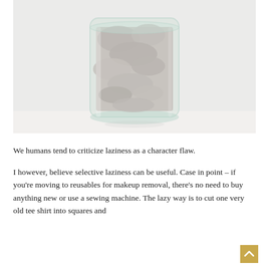[Figure (photo): A clear glass cylindrical jar filled with crumpled light gray fabric pieces (reusable makeup remover pads made from old t-shirt), set against a light white/gray background on a white surface.]
We humans tend to criticize laziness as a character flaw.
I however, believe selective laziness can be useful. Case in point – if you're moving to reusables for makeup removal, there's no need to buy anything new or use a sewing machine. The lazy way is to cut one very old tee shirt into squares and